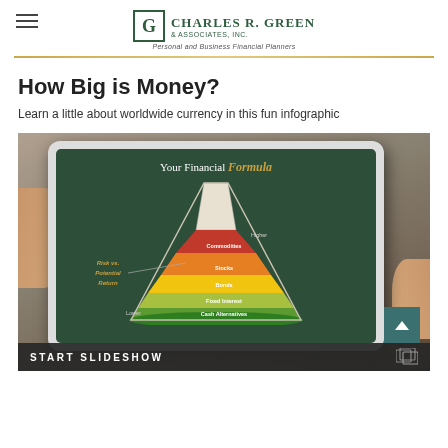Charles R. Green & Associates, Inc. — Personal and Business Financial Planners
How Big is Money?
Learn a little about worldwide currency in this fun infographic
[Figure (photo): Photo of hands holding a tablet showing 'Your Financial Formula' infographic with a flask diagram depicting Risk vs. Potential Return levels (from bottom: Cash Alternatives, Fixed Interest, Bonds, Stocks, and higher risk investments). A 'START SLIDESHOW' bar appears at the bottom of the image.]